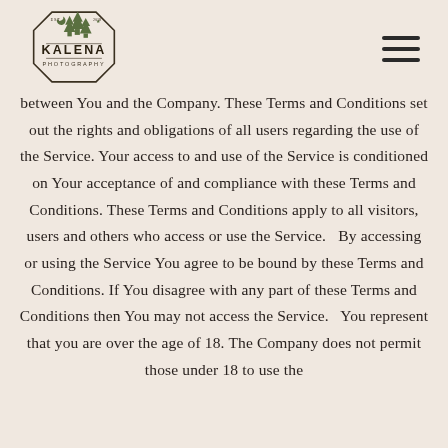KALENA PHOTOGRAPHY
between You and the Company. These Terms and Conditions set out the rights and obligations of all users regarding the use of the Service. Your access to and use of the Service is conditioned on Your acceptance of and compliance with these Terms and Conditions. These Terms and Conditions apply to all visitors, users and others who access or use the Service. By accessing or using the Service You agree to be bound by these Terms and Conditions. If You disagree with any part of these Terms and Conditions then You may not access the Service. You represent that you are over the age of 18. The Company does not permit those under 18 to use the